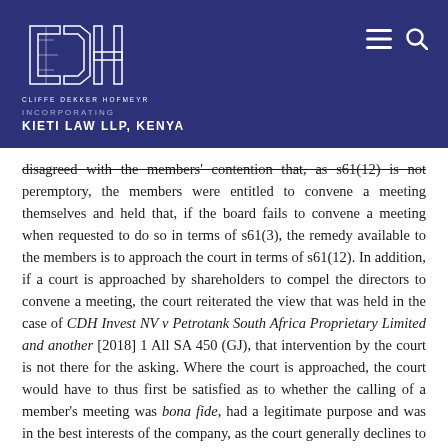CLIFFE DEKKER HOFMEYR — INCORPORATING KIETI LAW LLP, KENYA
disagreed with the members' contention that, as s61(12) is not peremptory, the members were entitled to convene a meeting themselves and held that, if the board fails to convene a meeting when requested to do so in terms of s61(3), the remedy available to the members is to approach the court in terms of s61(12). In addition, if a court is approached by shareholders to compel the directors to convene a meeting, the court reiterated the view that was held in the case of CDH Invest NV v Petrotank South Africa Proprietary Limited and another [2018] 1 All SA 450 (GJ), that intervention by the court is not there for the asking. Where the court is approached, the court would have to thus first be satisfied as to whether the calling of a member's meeting was bona fide, had a legitimate purpose and was in the best interests of the company, as the court generally declines to interfere in the management of the company's affairs. In CDH Invest, it was